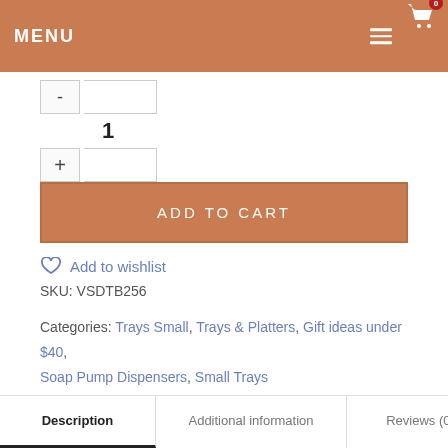MENU
1
ADD TO CART
Add to wishlist
SKU: VSDTB256
Categories: Trays Small, Trays & Platters, Gift ideas under $40, Soap Pump Dispensers, Small Trays
Tag: 172
Description  Additional information  Reviews (0)